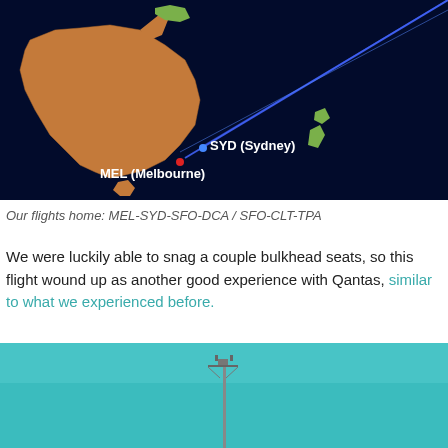[Figure (map): Flight route map showing Australia and the Pacific Ocean with a blue line indicating flight path from MEL (Melbourne) and SYD (Sydney) extending northeast across the ocean. Dark navy background with Australia visible in orange-brown tones. Labels: 'SYD (Sydney)' with blue dot and 'MEL (Melbourne)' with red dot.]
Our flights home: MEL-SYD-SFO-DCA / SFO-CLT-TPA
We were luckily able to snag a couple bulkhead seats, so this flight wound up as another good experience with Qantas, similar to what we experienced before.
[Figure (photo): Photo of a tall pole or antenna structure against a bright teal/turquoise sky. The structure appears to be some kind of airport navigation or lighting tower. The sky is a vivid blue-green color.]